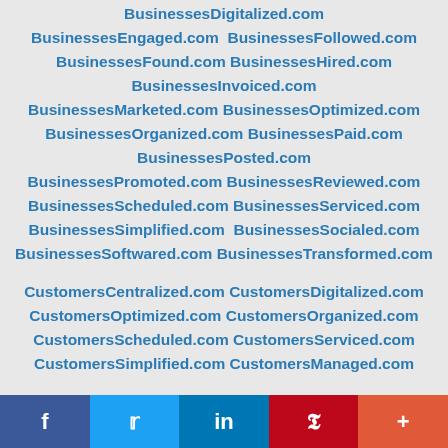BusinessesDigitalized.com BusinessesEngaged.com BusinessesFollowed.com BusinessesFound.com BusinessesHired.com BusinessesInvoiced.com BusinessesMarketed.com BusinessesOptimized.com BusinessesOrganized.com BusinessesPaid.com BusinessesPosted.com BusinessesPromoted.com BusinessesReviewed.com BusinessesScheduled.com BusinessesServiced.com BusinessesSimplified.com BusinessesSocialed.com BusinessesSoftwared.com BusinessesTransformed.com
CustomersCentralized.com CustomersDigitalized.com CustomersOptimized.com CustomersOrganized.com CustomersScheduled.com CustomersServiced.com CustomersSimplified.com CustomersManaged.com
ClientsCentralized.com ClientsDigitalized.com
f  Twitter  in  P  +